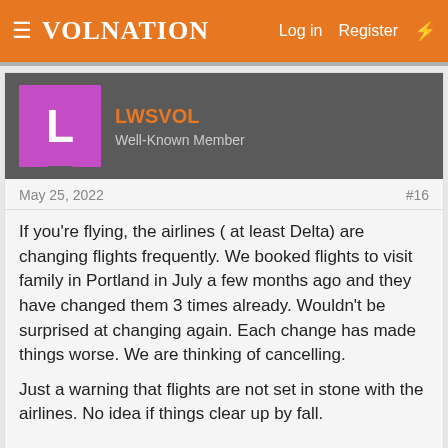VolNation — Log in  Register
LWSVOL
Well-Known Member
May 25, 2022  #16
If you're flying, the airlines ( at least Delta) are changing flights frequently. We booked flights to visit family in Portland in July a few months ago and they have changed them 3 times already. Wouldn't be surprised at changing again. Each change has made things worse. We are thinking of cancelling.

Just a warning that flights are not set in stone with the airlines. No idea if things clear up by fall.
👍 TrumpedUpVol
kcvols1